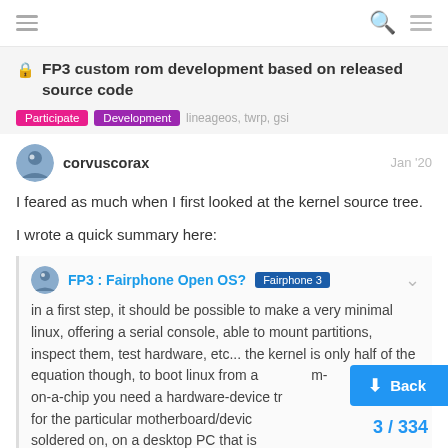FP3 custom rom development based on released source code — Participate, Development, lineageos, twrp, gsi
🔒 FP3 custom rom development based on released source code
Participate   Development   lineageos, twrp, gsi
corvuscorax   Jan '20
I feared as much when I first looked at the kernel source tree.
I wrote a quick summary here:
FP3 : Fairphone Open OS?  Fairphone 3
in a first step, it should be possible to make a very minimal linux, offering a serial console, able to mount partitions, inspect them, test hardware, etc... the kernel is only half of the equation though, to boot linux from a system-on-a-chip you need a hardware-device tree description for the particular motherboard/devic... soldered on, on a desktop PC that is